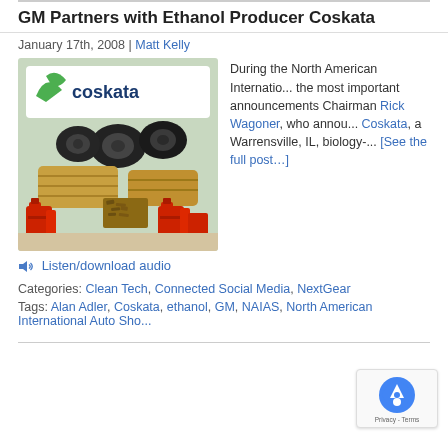GM Partners with Ethanol Producer Coskata
January 17th, 2008 | Matt Kelly
[Figure (photo): Photo showing Coskata logo with tires, hay bales, wood chips, and red fuel cans representing biomass feedstocks for ethanol production]
During the North American Internatio... the most important announcements Chairman Rick Wagoner, who annou... Coskata, a Warrensville, IL, biology-... [See the full post…]
Listen/download audio
Categories: Clean Tech, Connected Social Media, NextGear
Tags: Alan Adler, Coskata, ethanol, GM, NAIAS, North American International Auto Show...